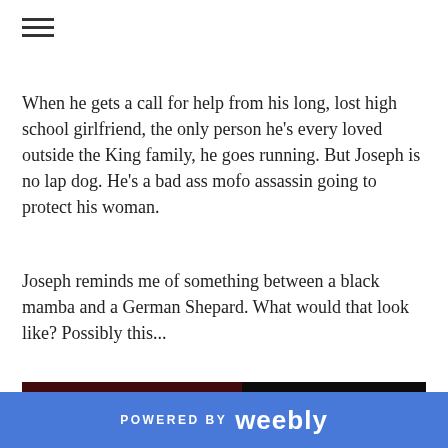When he gets a call for help from his long, lost high school girlfriend, the only person he's every loved outside the King family, he goes running. But Joseph is no lap dog. He's a bad ass mofo assassin going to protect his woman.
Joseph reminds me of something between a black mamba and a German Shepard. What would that look like? Possibly this...
[Figure (illustration): Dark anime screenshot showing a menacing figure with glowing orange eyes in the darkness, with red streaks. Watermark reads 'animeeater' in top left.]
POWERED BY weebly